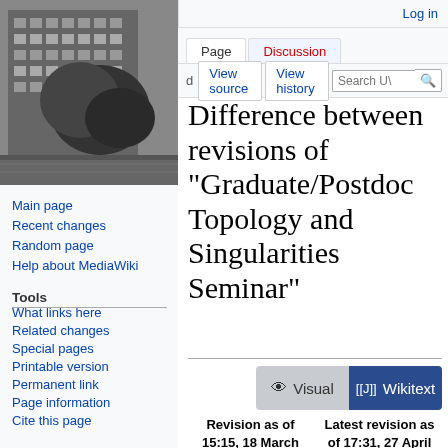Log in
[Figure (photo): Black and white photograph of a university building with trees in the foreground]
Main page
Recent changes
Random page
Help about MediaWiki
Tools
What links here
Related changes
Special pages
Printable version
Permanent link
Page information
Cite this page
Difference between revisions of "Graduate/Postdoc Topology and Singularities Seminar"
Revision as of 15:15, 18 March 2022 (view
Latest revision as of 17:31, 27 April 2022 (view